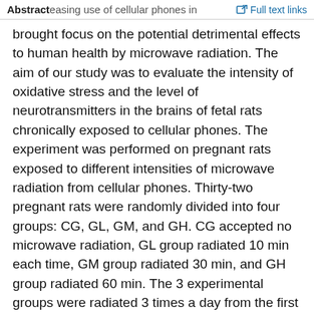Abstract | Full text links
easing use of cellular phones in brought focus on the potential detrimental effects to human health by microwave radiation. The aim of our study was to evaluate the intensity of oxidative stress and the level of neurotransmitters in the brains of fetal rats chronically exposed to cellular phones. The experiment was performed on pregnant rats exposed to different intensities of microwave radiation from cellular phones. Thirty-two pregnant rats were randomly divided into four groups: CG, GL, GM, and GH. CG accepted no microwave radiation, GL group radiated 10 min each time, GM group radiated 30 min, and GH group radiated 60 min. The 3 experimental groups were radiated 3 times a day from the first pregnant day for consecutively 20 days, and on the 21st day, the fetal rats were taken and then the contents of superoxide dismutase (SOD), glutathione peroxidase (GSH-Px), malondialdehyde (MDA), noradrenaline (NE), dopamine (DA), and 5-hydroxyindole acetic acid (5-HT) in the brain were